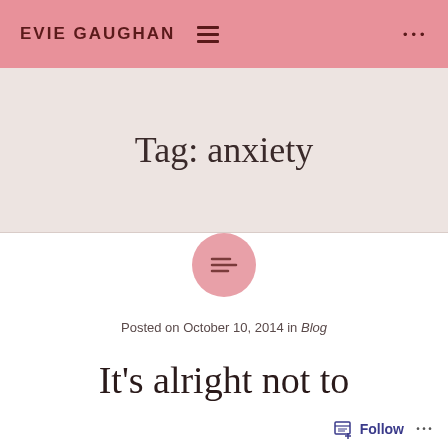EVIE GAUGHAN
Tag: anxiety
[Figure (illustration): Pink circle with a centered text/lines icon representing a blog post thumbnail placeholder]
Posted on October 10, 2014 in Blog
It's alright not to
Follow